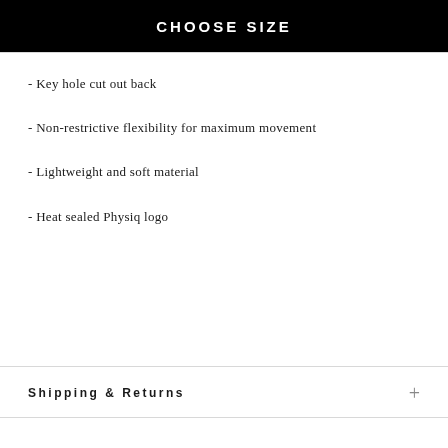CHOOSE SIZE
- Key hole cut out back
- Non-restrictive flexibility for maximum movement
- Lightweight and soft material
- Heat sealed Physiq logo
Shipping & Returns